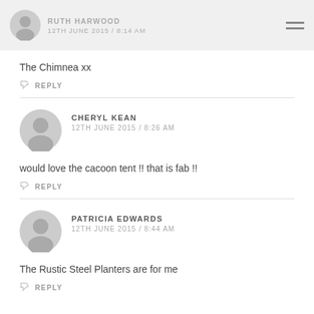RUTH HARWOOD 12TH JUNE 2015 / 8:14 AM
The Chimnea xx
REPLY
CHERYL KEAN 12TH JUNE 2015 / 8:26 AM
would love the cacoon tent !! that is fab !!
REPLY
PATRICIA EDWARDS 12TH JUNE 2015 / 8:44 AM
The Rustic Steel Planters are for me
REPLY